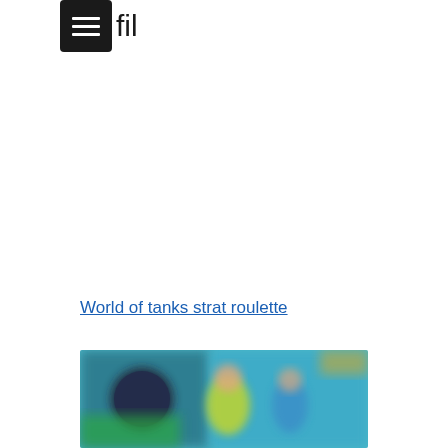fil
World of tanks strat roulette
[Figure (screenshot): Blurred screenshot of a video game or streaming interface showing animated characters on a teal/blue background with a dark circular element on the left side]